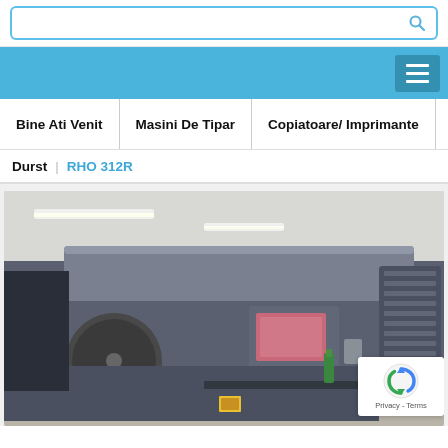[Figure (screenshot): Search bar with blue border and magnifying glass icon]
[Figure (screenshot): Blue navigation header bar with hamburger menu button]
Bine Ati Venit | Masini De Tipar | Copiatoare/ Imprimante
Durst | RHO 312R
[Figure (photo): Industrial large-format printing machine (Durst RHO 312R) in a production facility with fluorescent lighting, gray machine body, control panel with screen, and roll media feed system]